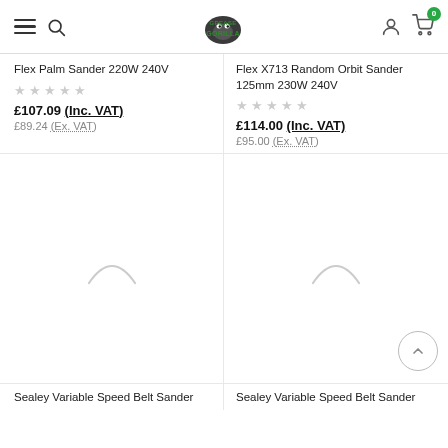Grease Gorilla - website header with navigation icons and logo
Flex Palm Sander 220W 240V
★★★★★ (no ratings)
£107.09 (Inc. VAT) £89.24 (Ex. VAT)
Flex X713 Random Orbit Sander 125mm 230W 240V
★★★★★ (no ratings)
£114.00 (Inc. VAT) £95.00 (Ex. VAT)
[Figure (photo): Loading spinner arc for product 1]
[Figure (photo): Loading spinner arc for product 2 with back-to-top button]
Sealey Variable Speed Belt Sander
Sealey Variable Speed Belt Sander